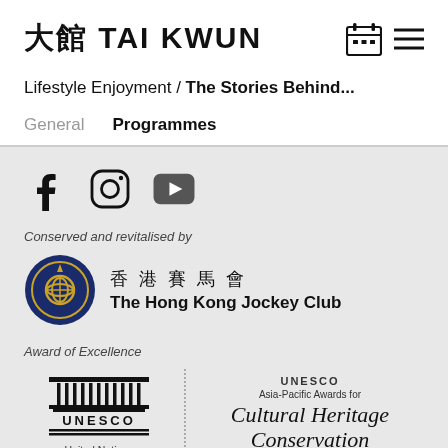[Figure (logo): 大館 TAI KWUN logo with calendar and menu icons]
Lifestyle Enjoyment / The Stories Behind...
General    Programmes
[Figure (logo): Social media icons: Facebook, Instagram, YouTube]
Conserved and revitalised by
[Figure (logo): Hong Kong Jockey Club logo with Chinese text 香港賽馬會 and English text The Hong Kong Jockey Club]
Award of Excellence
[Figure (logo): UNESCO logo on left with United Nations Educational, Scientific and Cultural Organization text; UNESCO Asia-Pacific Awards for Cultural Heritage Conservation 2019 on right]